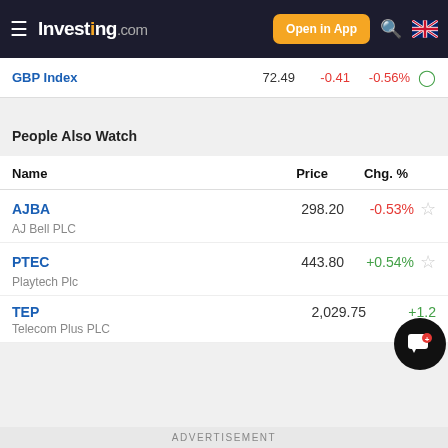Investing.com — Open in App
| Name | Price | Change | Chg. % |
| --- | --- | --- | --- |
| GBP Index | 72.49 | -0.41 | -0.56% |
People Also Watch
| Name | Price | Chg. % |
| --- | --- | --- |
| AJBA / AJ Bell PLC | 298.20 | -0.53% |
| PTEC / Playtech Plc | 443.80 | +0.54% |
| TEP / Telecom Plus PLC | 2,029.75 | +1.2... |
ADVERTISEMENT